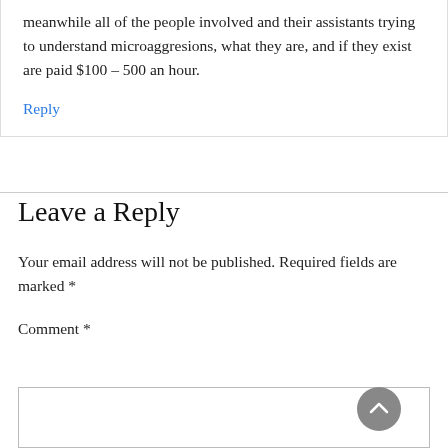meanwhile all of the people involved and their assistants trying to understand microaggresions, what they are, and if they exist are paid $100 – 500 an hour.
Reply
Leave a Reply
Your email address will not be published. Required fields are marked *
Comment *